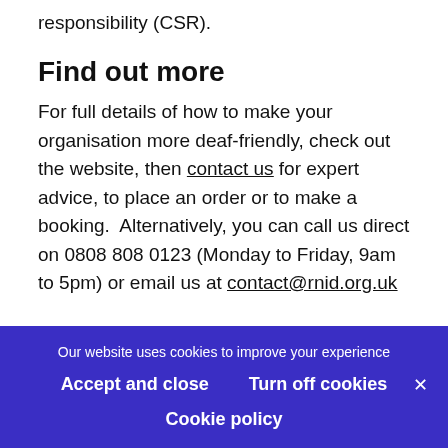responsibility (CSR).
Find out more
For full details of how to make your organisation more deaf-friendly, check out the website, then contact us for expert advice, to place an order or to make a booking.  Alternatively, you can call us direct on 0808 808 0123 (Monday to Friday, 9am to 5pm) or email us at contact@rnid.org.uk
Our website uses cookies to improve your experience
Accept and close
Turn off cookies
Cookie policy